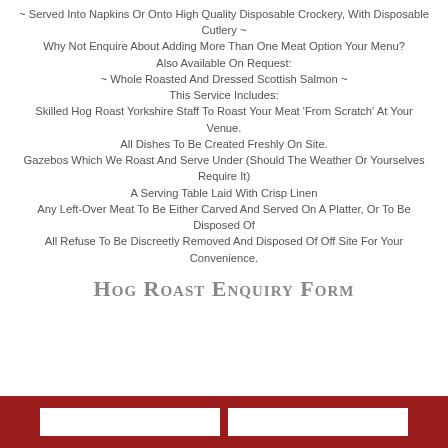~ Served Into Napkins Or Onto High Quality Disposable Crockery, With Disposable Cutlery ~ Why Not Enquire About Adding More Than One Meat Option Your Menu? Also Available On Request: ~ Whole Roasted And Dressed Scottish Salmon ~ This Service Includes: Skilled Hog Roast Yorkshire Staff To Roast Your Meat 'From Scratch' At Your Venue. All Dishes To Be Created Freshly On Site. Gazebos Which We Roast And Serve Under (Should The Weather Or Yourselves Require It) A Serving Table Laid With Crisp Linen Any Left-Over Meat To Be Either Carved And Served On A Platter, Or To Be Disposed Of All Refuse To Be Discreetly Removed And Disposed Of Off Site For Your Convenience.
Hog Roast Enquiry Form
[Figure (other): Red bar at bottom with two white form input fields side by side]